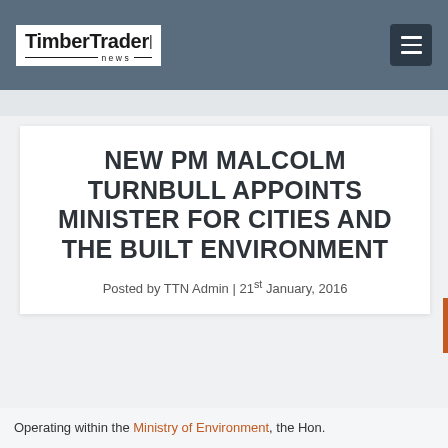TimberTrader news
NEW PM MALCOLM TURNBULL APPOINTS MINISTER FOR CITIES AND THE BUILT ENVIRONMENT
Posted by TTN Admin | 21st January, 2016
Operating within the Ministry of Environment, the Hon.